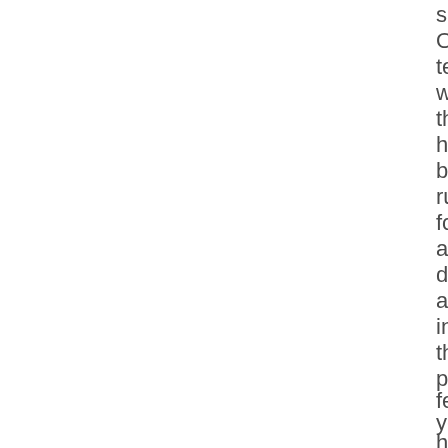sm OS tec wa the ha be run for a de an in the pa few ye ha